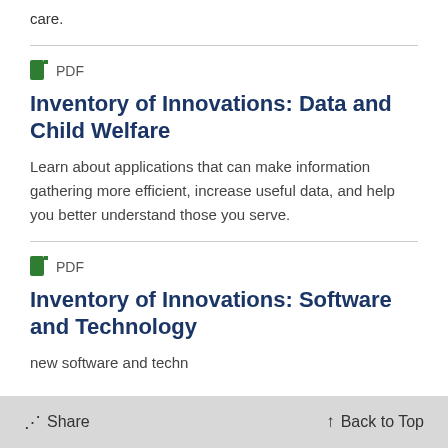care.
PDF
Inventory of Innovations: Data and Child Welfare
Learn about applications that can make information gathering more efficient, increase useful data, and help you better understand those you serve.
PDF
Inventory of Innovations: Software and Technology
new software and techn... child...
Share   Back to Top